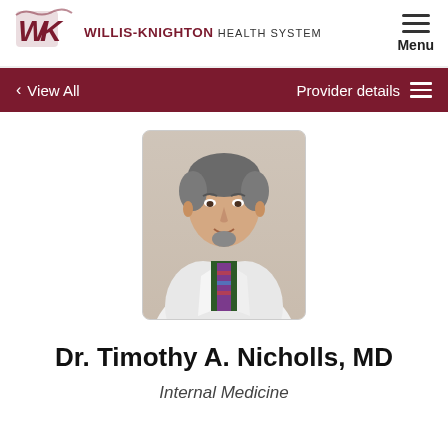[Figure (logo): Willis-Knighton Health System logo with stylized WK letters in dark red and text]
Menu
< View All    Provider details ≡
[Figure (photo): Professional headshot of Dr. Timothy A. Nicholls in white lab coat with patterned tie]
Dr. Timothy A. Nicholls, MD
Internal Medicine